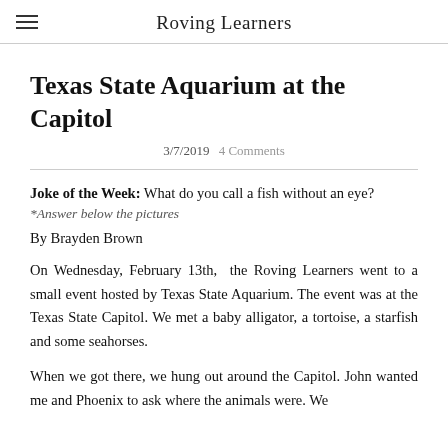Roving Learners
Texas State Aquarium at the Capitol
3/7/2019  4 Comments
Joke of the Week: What do you call a fish without an eye? *Answer below the pictures
By Brayden Brown
On Wednesday, February 13th,  the Roving Learners went to a small event hosted by Texas State Aquarium. The event was at the Texas State Capitol. We met a baby alligator, a tortoise, a starfish and some seahorses.
When we got there, we hung out around the Capitol. John wanted me and Phoenix to ask where the animals were. We